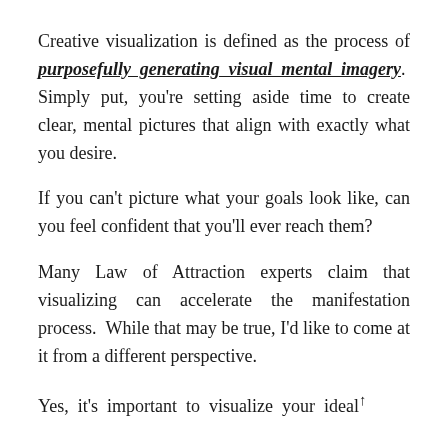Creative visualization is defined as the process of purposefully generating visual mental imagery. Simply put, you're setting aside time to create clear, mental pictures that align with exactly what you desire.
If you can't picture what your goals look like, can you feel confident that you'll ever reach them?
Many Law of Attraction experts claim that visualizing can accelerate the manifestation process. While that may be true, I'd like to come at it from a different perspective.
Yes, it's important to visualize your ideal